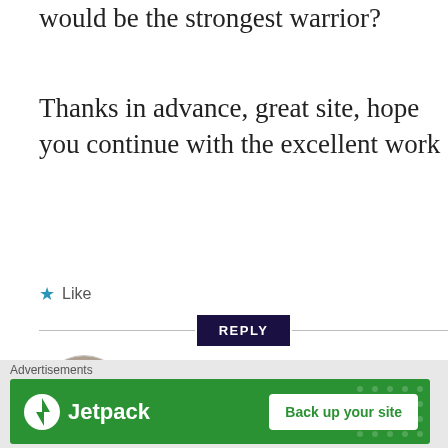would be the strongest warrior?
Thanks in advance, great site, hope you continue with the excellent work
★ Like
REPLY
[Figure (photo): Black and white portrait photo of Michael S., a man with a mustache]
Michael S.
Advertisements
[Figure (logo): Jetpack advertisement banner with green background, Jetpack logo on left and 'Back up your site' button on right]